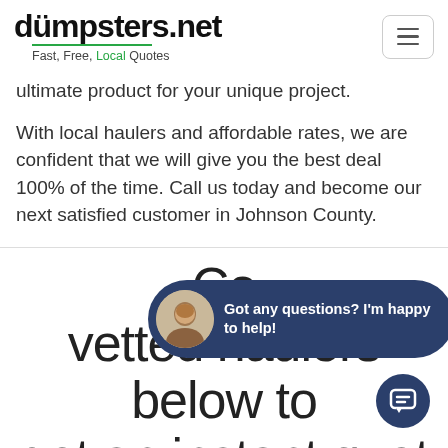dumpsters.net — Fast, Free, Local Quotes
ultimate product for your unique project.
With local haulers and affordable rates, we are confident that we will give you the best deal 100% of the time. Call us today and become our next satisfied customer in Johnson County.
Compare our vetted haulers below to get an instant quote
[Figure (photo): Chat bubble overlay with avatar photo of smiling man and text 'Got any questions? I'm happy to help!' on dark navy background]
[Figure (other): Dark navy circular chat icon button with speech bubble icon, bottom right corner]